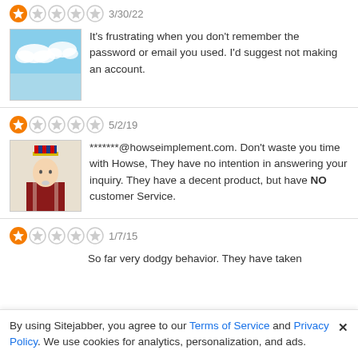3/30/22 — 1 star rating. It's frustrating when you don't remember the password or email you used. I'd suggest not making an account.
5/2/19 — 1 star rating. *******@howseimplement.com. Don't waste you time with Howse, They have no intention in answering your inquiry. They have a decent product, but have NO customer Service.
1/7/15 — 1 star rating. So far very dodgy behavior. They have taken
By using Sitejabber, you agree to our Terms of Service and Privacy Policy. We use cookies for analytics, personalization, and ads.